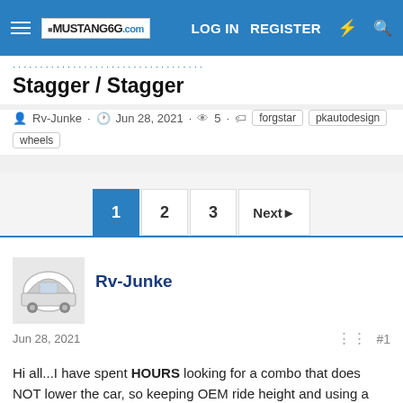MUSTANG6G.COM — LOG IN  REGISTER
Stagger / Stagger
Rv-Junke · Jun 28, 2021 · 5 · forgstar  pkautodesign  wheels
Pagination: 1  2  3  Next
Rv-Junke
Jun 28, 2021  #1
Hi all...I have spent HOURS looking for a combo that does NOT lower the car, so keeping OEM ride height and using a Stagger / Stagger to get a rake look and fill wheel wells out. This is on a 2021 GT Premium. Will be doing Forgestar CV5's...if anyone has done this or similar can you post a